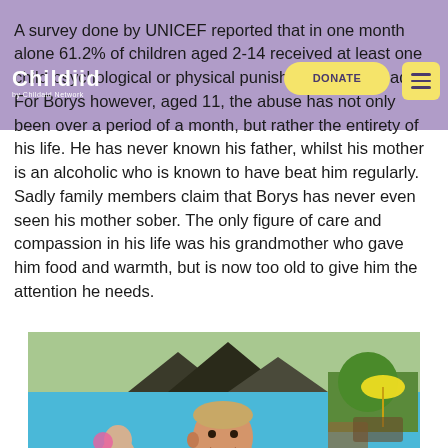Childiid (logo)
A survey done by UNICEF reported that in one month alone 61.2% of children aged 2-14 received at least one child psychological or physical punishment from an adult. For Borys however, aged 11, the abuse has not only been over a period of a month, but rather the entirety of his life. He has never known his father, whilst his mother is an alcoholic who is known to have beat him regularly. Sadly family members claim that Borys has never even seen his mother sober. The only figure of care and compassion in his life was his grandmother who gave him food and warmth, but is now too old to give him the attention he needs.
[Figure (photo): A young boy in an inflatable swimming pool outdoors, leaning on the edge of the blue pool, smiling. There is another child visible in the background. The setting is a garden with green lawn and various outdoor furniture.]